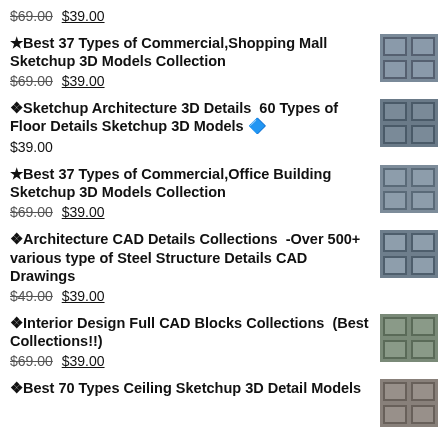$69.00 $39.00
★Best 37 Types of Commercial,Shopping Mall Sketchup 3D Models Collection — $69.00 $39.00
💎Sketchup Architecture 3D Details  60 Types of Floor Details Sketchup 3D Models — $39.00
★Best 37 Types of Commercial,Office Building Sketchup 3D Models Collection — $69.00 $39.00
🔷Architecture CAD Details Collections  -Over 500+ various type of Steel Structure Details CAD Drawings — $49.00 $39.00
🔷Interior Design Full CAD Blocks Collections  (Best Collections!!) — $69.00 $39.00
🔷Best 70 Types Ceiling Sketchup 3D Detail Models